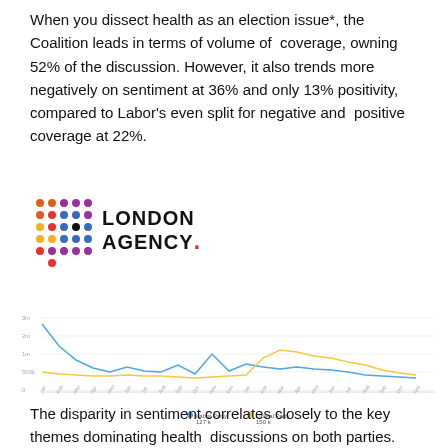When you dissect health as an election issue*, the Coalition leads in terms of volume of coverage, owning 52% of the discussion. However, it also trends more negatively on sentiment at 36% and only 13% positivity, compared to Labor's even split for negative and positive coverage at 22%.
[Figure (logo): London Agency logo with colorful dot grid and bold text]
[Figure (line-chart): ]
Labor Party 127k   Liberal Party 150k
The disparity in sentiment correlates closely to the key themes dominating health discussions on both parties.